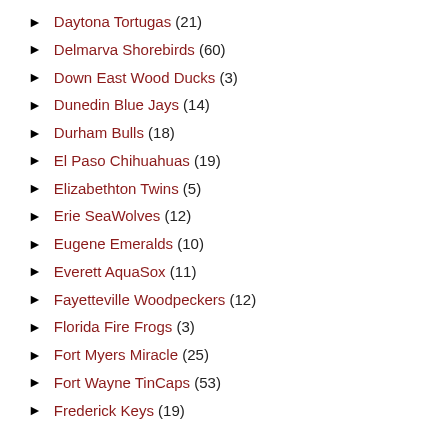▶ Daytona Tortugas (21)
▶ Delmarva Shorebirds (60)
▶ Down East Wood Ducks (3)
▶ Dunedin Blue Jays (14)
▶ Durham Bulls (18)
▶ El Paso Chihuahuas (19)
▶ Elizabethton Twins (5)
▶ Erie SeaWolves (12)
▶ Eugene Emeralds (10)
▶ Everett AquaSox (11)
▶ Fayetteville Woodpeckers (12)
▶ Florida Fire Frogs (3)
▶ Fort Myers Miracle (25)
▶ Fort Wayne TinCaps (53)
▶ Frederick Keys (19)